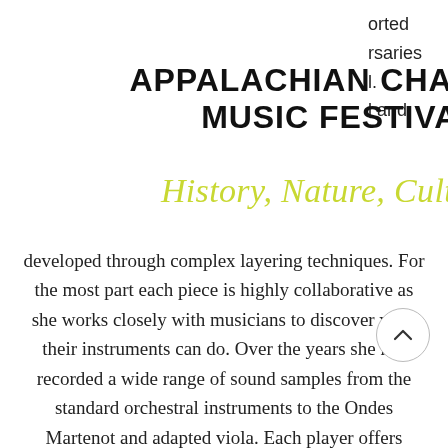APPALACHIAN CHAMBER MUSIC FESTIVAL
History, Nature, Culture
orted
rsaries
l.
l and
developed through complex layering techniques. For the most part each piece is highly collaborative as she works closely with musicians to discover what their instruments can do. Over the years she has recorded a wide range of sound samples from the standard orchestral instruments to the Ondes Martenot and adapted viola. Each player offers something new to the mix and so each piece is unique to the player(s) involved.
In October 2014 her debut cd entitled